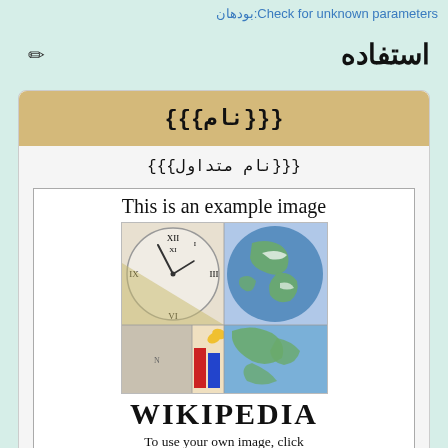بودهان:Check for unknown parameters
استفاده
{{{نام}}}
{{{نام متداول}}}
[Figure (illustration): Example image composite showing a clock, Earth globe, Wikipedia puzzle globe logo and WIKIPEDIA wordmark, with caption 'This is an example image' and instructions 'To use your own image, click "Upload file" in the sidebar.']